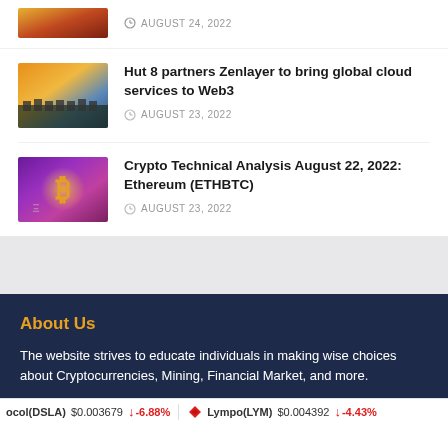AUGUST 24, 2022
Hut 8 partners Zenlayer to bring global cloud services to Web3
AUGUST 23, 2022
Crypto Technical Analysis August 22, 2022: Ethereum (ETHBTC)
AUGUST 23, 2022
About Us
The website strives to educate individuals in making wise choices about Cryptocurrencies, Mining, Financial Market, and more.
ocol(DSLA) $0.003679 ↓ -6.88% Lympo(LYM) $0.004392 ↓ -4.43%